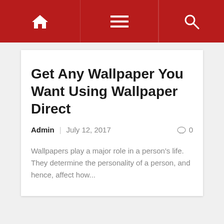Navigation bar with home, menu, and search icons
Get Any Wallpaper You Want Using Wallpaper Direct
Admin  July 12, 2017  0
Wallpapers play a major role in a person's life. They determine the personality of a person, and hence, affect how...